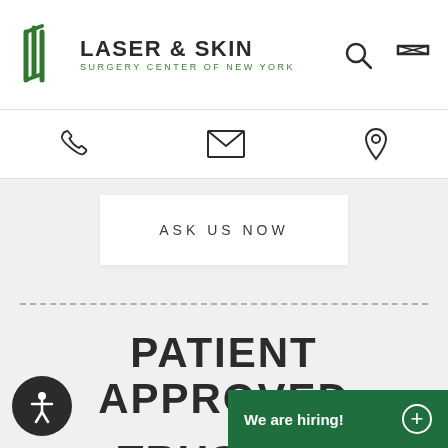[Figure (logo): Laser & Skin Surgery Center of New York logo with green vertical line icon]
[Figure (infographic): Contact bar with phone, email/envelope, and map pin icons]
ASK US NOW
PATIENT APPROVED
TRUSTED WORLDWIDE
[Figure (infographic): Accessibility icon button - circular person with arms/legs spread]
We are hiring!